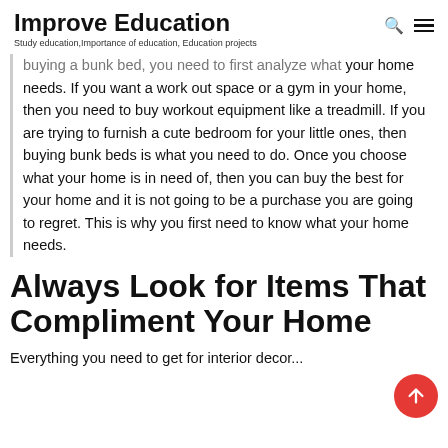Improve Education
Study education,Importance of education, Education projects
buying a bunk bed, you need to first analyze what your home needs. If you want a work out space or a gym in your home, then you need to buy workout equipment like a treadmill. If you are trying to furnish a cute bedroom for your little ones, then buying bunk beds is what you need to do. Once you choose what your home is in need of, then you can buy the best for your home and it is not going to be a purchase you are going to regret. This is why you first need to know what your home needs.
Always Look for Items That Compliment Your Home
Everything you need to get for interior decor...